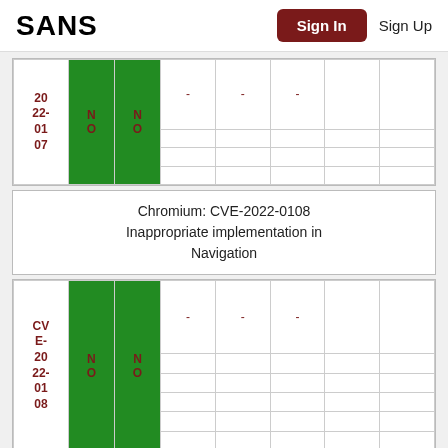SANS | Sign In | Sign Up
| CVE | N | N |  |  |  |  |  |
| --- | --- | --- | --- | --- | --- | --- | --- |
| 20 22- 01 07 | NO | NO | - | - | - |  |  |
Chromium: CVE-2022-0108 Inappropriate implementation in Navigation
| CVE | N | N |  |  |  |  |  |
| --- | --- | --- | --- | --- | --- | --- | --- |
| CV E- 20 22- 01 08 | NO | NO | - | - | - |  |  |
Chromium: CVE-2022-0109 Inappropriate implementation in